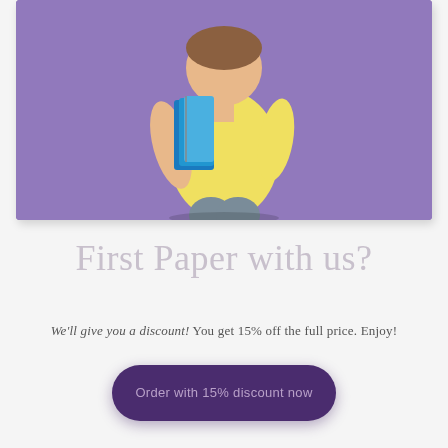[Figure (photo): A student in a yellow shirt holding blue notebooks/binders, jumping against a purple/lavender background]
First Paper with us?
We'll give you a discount! You get 15% off the full price. Enjoy!
Order with 15% discount now